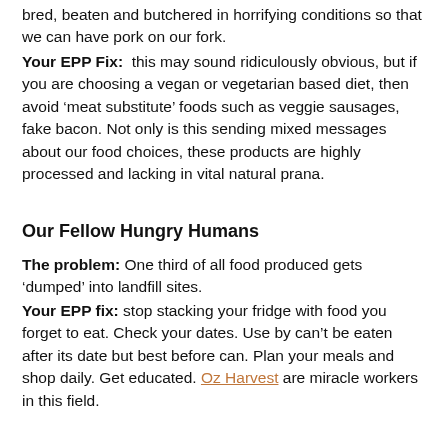bred, beaten and butchered in horrifying conditions so that we can have pork on our fork.
Your EPP Fix: this may sound ridiculously obvious, but if you are choosing a vegan or vegetarian based diet, then avoid ‘meat substitute’ foods such as veggie sausages, fake bacon. Not only is this sending mixed messages about our food choices, these products are highly processed and lacking in vital natural prana.
Our Fellow Hungry Humans
The problem: One third of all food produced gets ‘dumped’ into landfill sites.
Your EPP fix: stop stacking your fridge with food you forget to eat. Check your dates. Use by can’t be eaten after its date but best before can. Plan your meals and shop daily. Get educated. Oz Harvest are miracle workers in this field.